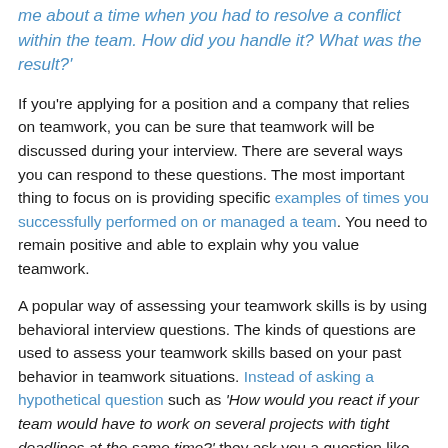me about a time when you had to resolve a conflict within the team. How did you handle it? What was the result?'
If you're applying for a position and a company that relies on teamwork, you can be sure that teamwork will be discussed during your interview. There are several ways you can respond to these questions. The most important thing to focus on is providing specific examples of times you successfully performed on or managed a team. You need to remain positive and able to explain why you value teamwork.
A popular way of assessing your teamwork skills is by using behavioral interview questions. The kinds of questions are used to assess your teamwork skills based on your past behavior in teamwork situations. Instead of asking a hypothetical question such as 'How would you react if your team would have to work on several projects with tight deadlines at the same time?' they ask you a question like